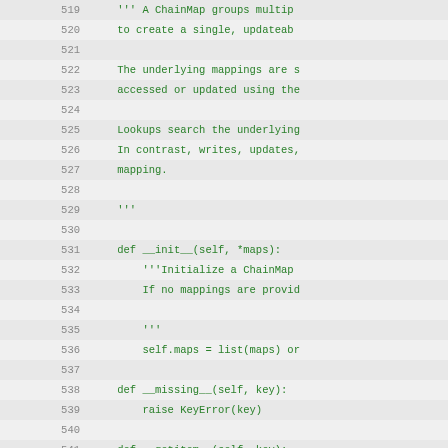[Figure (screenshot): Code editor view showing Python source code lines 519-550, implementing a ChainMap class with line numbers on the left in gray and code in green monospace font on alternating light gray rows.]